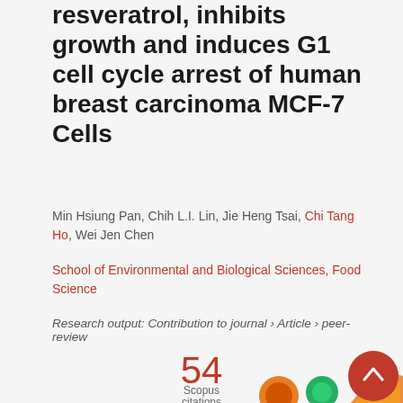…resveratrol, inhibits growth and induces G1 cell cycle arrest of human breast carcinoma MCF-7 Cells
Min Hsiung Pan, Chih L.I. Lin, Jie Heng Tsai, Chi Tang Ho, Wei Jen Chen
School of Environmental and Biological Sciences, Food Science
Research output: Contribution to journal › Article › peer-review
[Figure (infographic): Scopus citations count showing 54 citations, with circular badge icons at the bottom and a pink scroll-to-top button]